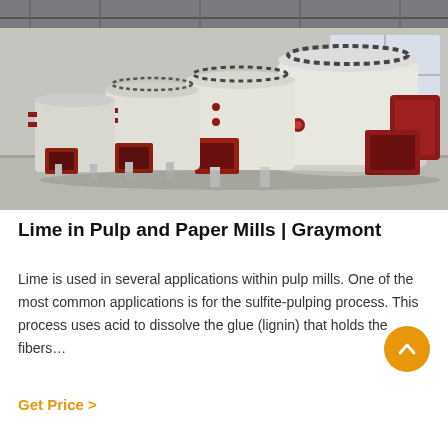[Figure (photo): Industrial pulp mill grinding machines (Raymond mills) in a large factory/warehouse setting. Multiple large white cylindrical grinding mill units with red accent components and square intake/output chutes are visible in a row inside an industrial building with grey floors and metal roof structure.]
Lime in Pulp and Paper Mills | Graymont
Lime is used in several applications within pulp mills. One of the most common applications is for the sulfite-pulping process. This process uses acid to dissolve the glue (lignin) that holds the fibers…
Get Price  >